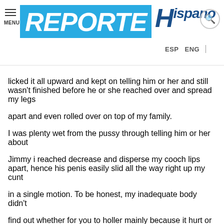REPORTE HISPANO
licked it all upward and kept on telling him or her and still wasn't finished before he or she reached over and spread my legs apart and even rolled over on top of my family.

I was plenty wet from the pussy through telling him or her about Jimmy i reached decrease and disperse my cooch lips apart, hence his penis easily slid all the way right up my cunt in a single motion. To be honest, my inadequate body didn't find out whether for you to holler mainly because it hurt or simply grin mainly because it all felt so excellent. And I would you think something